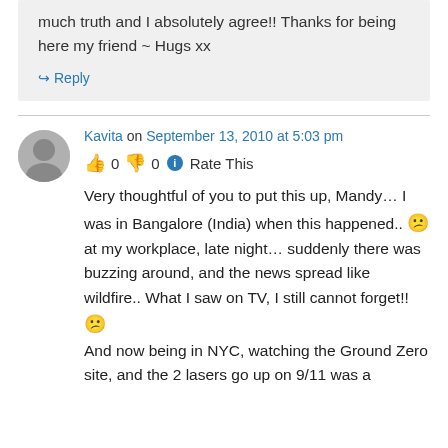much truth and I absolutely agree!! Thanks for being here my friend ~ Hugs xx
↪ Reply
Kavita on September 13, 2010 at 5:03 pm
👍 0 👎 0 ℹ Rate This
Very thoughtful of you to put this up, Mandy… I was in Bangalore (India) when this happened.. 😕 at my workplace, late night… suddenly there was buzzing around, and the news spread like wildfire.. What I saw on TV, I still cannot forget!! 😕
And now being in NYC, watching the Ground Zero site, and the 2 lasers go up on 9/11 was a